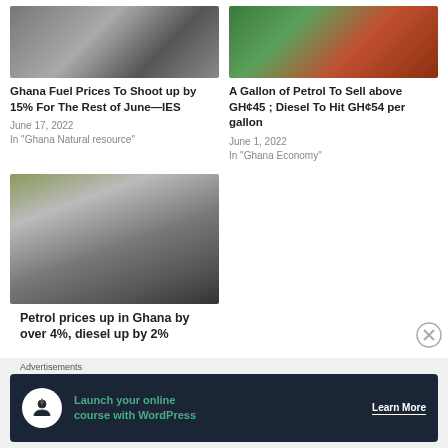[Figure (photo): Street scene with cars and taxis in Ghana]
Ghana Fuel Prices To Shoot up by 15% For The Rest of June—IES
June 17, 2022
In "Ghana Natural resource"
[Figure (photo): Close-up of a petrol pump nozzle being held]
A Gallon of Petrol To Sell above GH¢45 ; Diesel To Hit GH¢54 per gallon
June 1, 2022
In "Ghana Economy"
[Figure (photo): Woman fueling a car at a petrol station in Ghana]
Petrol prices up in Ghana by over 4%, diesel up by 2%
[Figure (other): Advertisement banner: Launch your online course with WordPress — Learn More]
Advertisements